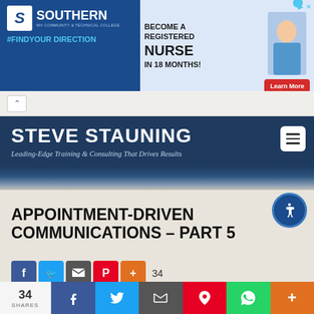[Figure (screenshot): Southern WV Community & Technical College advertisement banner with blue background and #FINDYOURDIRECTION tagline]
[Figure (screenshot): Become a Registered Nurse in 18 months advertisement with Learn More button]
STEVE STAUNING
Leading-Edge Training & Consulting That Drives Results
APPOINTMENT-DRIVEN COMMUNICATIONS – PART 5
[Figure (screenshot): Social sharing buttons: Facebook, Twitter, Email, Pinterest, Plus. Share count: 34]
[Figure (screenshot): Video embed thumbnail showing Appointment-Driven Communicat... with avatar]
[Figure (screenshot): Bottom share bar with 34 SHARES, Facebook, Twitter, Email, Pinterest, WhatsApp, Plus buttons]